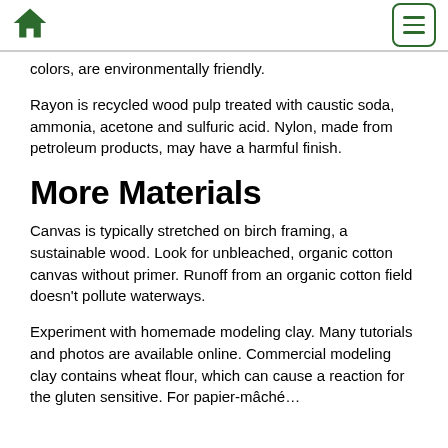Home / Menu
colors, are environmentally friendly.
Rayon is recycled wood pulp treated with caustic soda, ammonia, acetone and sulfuric acid. Nylon, made from petroleum products, may have a harmful finish.
More Materials
Canvas is typically stretched on birch framing, a sustainable wood. Look for unbleached, organic cotton canvas without primer. Runoff from an organic cotton field doesn't pollute waterways.
Experiment with homemade modeling clay. Many tutorials and photos are available online. Commercial modeling clay contains wheat flour, which can cause a reaction for the gluten sensitive. For papier-mâché…